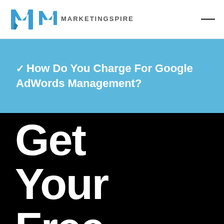[Figure (logo): MarketingSpire logo with stylized M icon and text MARKETINGSPIRE]
How Do You Charge For Google AdWords Management?
Get Your Free